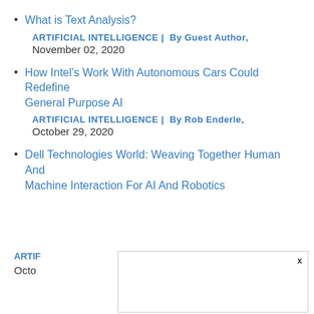What is Text Analysis?
ARTIFICIAL INTELLIGENCE |  By Guest Author, November 02, 2020
How Intel's Work With Autonomous Cars Could Redefine General Purpose AI
ARTIFICIAL INTELLIGENCE |  By Rob Enderle, October 29, 2020
Dell Technologies World: Weaving Together Human And Machine Interaction For AI And Robotics
ARTIF... October...